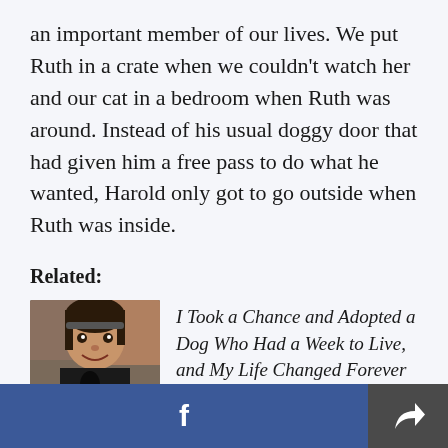an important member of our lives. We put Ruth in a crate when we couldn't watch her and our cat in a bedroom when Ruth was around. Instead of his usual doggy door that had given him a free pass to do what he wanted, Harold only got to go outside when Ruth was inside.
Related:
[Figure (photo): Photo of a woman with a black Labrador dog]
I Took a Chance and Adopted a Dog Who Had a Week to Live, and My Life Changed Forever
f [Facebook share button] [Share icon button]